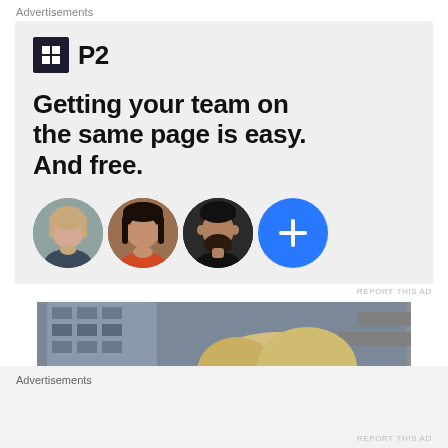Advertisements
[Figure (infographic): Advertisement for P2 workspace app. Shows P2 logo (dark square with grid icon and 'P2' text), headline 'Getting your team on the same page is easy. And free.', and three circular profile photo avatars plus a blue circle with a plus sign.]
REPORT THIS AD
[Figure (photo): Partial photo showing a person with blonde hair from behind, with a building/parking structure in the background.]
Advertisements
REPORT THIS AD